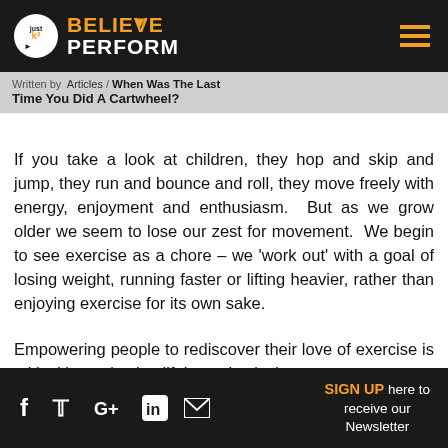[Figure (logo): BelievePerform logo with circular icon on dark background header bar]
Articles / When Was The Last Time You Did A Cartwheel?
Written by
If you take a look at children, they hop and skip and jump, they run and bounce and roll, they move freely with energy, enjoyment and enthusiasm.  But as we grow older we seem to lose our zest for movement.  We begin to see exercise as a chore – we 'work out' with a goal of losing weight, running faster or lifting heavier, rather than enjoying exercise for its own sake.
Empowering people to rediscover their love of exercise is critical in motivating lifelong physical
SIGN UP here to receive our Newsletter